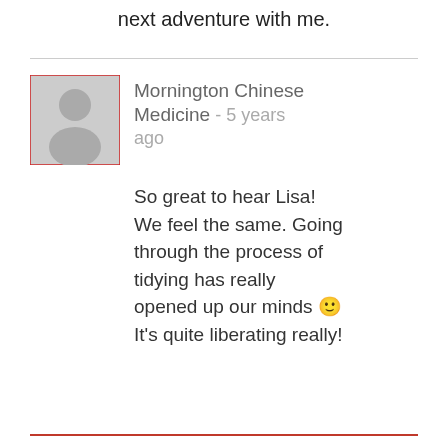next adventure with me.
Mornington Chinese Medicine - 5 years ago
So great to hear Lisa! We feel the same. Going through the process of tidying has really opened up our minds 🙂 It's quite liberating really!